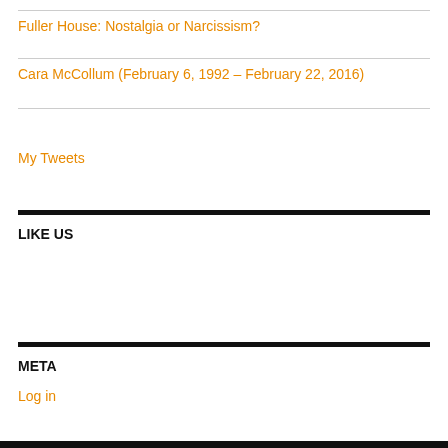Fuller House: Nostalgia or Narcissism?
Cara McCollum (February 6, 1992 – February 22, 2016)
My Tweets
LIKE US
META
Log in